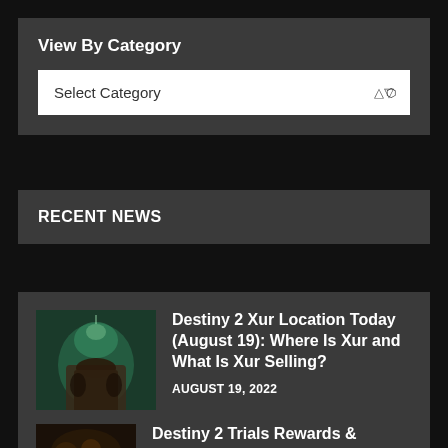View By Category
Select Category
RECENT NEWS
[Figure (photo): Thumbnail image of a dark armored figure in a glowing green environment from Destiny 2]
Destiny 2 Xur Location Today (August 19): Where Is Xur and What Is Xur Selling?
AUGUST 19, 2022
[Figure (photo): Thumbnail image from Destiny 2 Trials, partially visible]
Destiny 2 Trials Rewards &